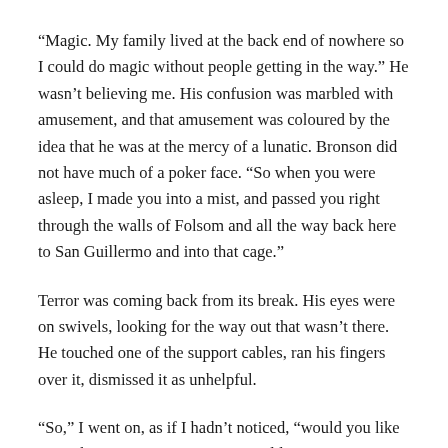“Magic. My family lived at the back end of nowhere so I could do magic without people getting in the way.” He wasn’t believing me. His confusion was marbled with amusement, and that amusement was coloured by the idea that he was at the mercy of a lunatic. Bronson did not have much of a poker face. “So when you were asleep, I made you into a mist, and passed you right through the walls of Folsom and all the way back here to San Guillermo and into that cage.”
Terror was coming back from its break. His eyes were on swivels, looking for the way out that wasn’t there. He touched one of the support cables, ran his fingers over it, dismissed it as unhelpful.
“So,” I went on, as if I hadn’t noticed, “would you like to see how I got you in? How I could get you out?”
That got his attention. He still didn’t believe me, clearly, but I